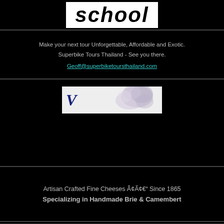[Figure (logo): Logo with bold italic text 'school' on white background]
Make your next tour Unforgettable,  Affordable and Exotic.
Superbike Tours Thailand - See you there.
Geoff@superbiketoursthailand.com
[Figure (photo): Partial image showing a letter V and smoke/explosion cloud on light background]
Artisan Crafted Fine Cheeses Â¢â‚¬â€œ Since 1865
Specializing in Handmade Brie & Camembert